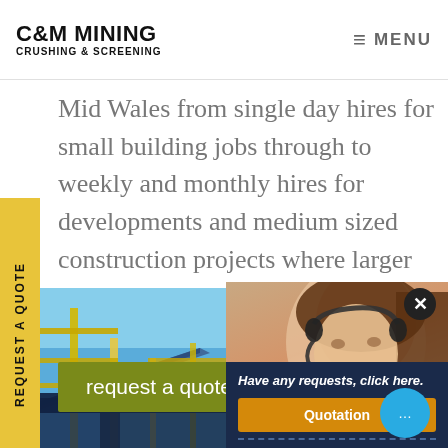C&M MINING CRUSHING & SCREENING | MENU
Mid Wales from single day hires for small building jobs through to weekly and monthly hires for developments and medium sized construction projects where larger industrial crushers are not cost effective. SEE further down fo
REQUEST A QUOTE
request a quote
[Figure (photo): Industrial mining and screening machinery with blue sky background, showing yellow structural frames and conveyor equipment]
[Figure (photo): Customer service representative woman with headset smiling, chat popup overlay with 'Have any requests, click here.' text and Quotation button]